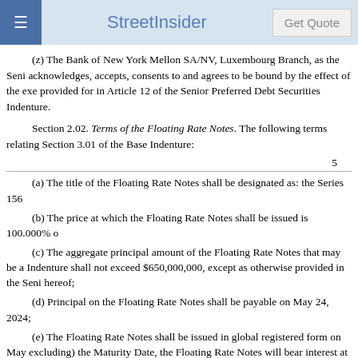StreetInsider | Get Quote
(z) The Bank of New York Mellon SA/NV, Luxembourg Branch, as the Senior Preferred Debt Securities Trustee, acknowledges, accepts, consents to and agrees to be bound by the effect of the execution of this Supplemental Indenture as provided for in Article 12 of the Senior Preferred Debt Securities Indenture.
Section 2.02. Terms of the Floating Rate Notes. The following terms relating to the Floating Rate Notes are hereby established as provided for in Section 3.01 of the Base Indenture:
5
(a) The title of the Floating Rate Notes shall be designated as: the Series 156
(b) The price at which the Floating Rate Notes shall be issued is 100.000% o
(c) The aggregate principal amount of the Floating Rate Notes that may be authenticated and delivered under the Indenture shall not exceed $650,000,000, except as otherwise provided in the Senior Preferred Debt Securities Indenture as of the date hereof;
(d) Principal on the Floating Rate Notes shall be payable on May 24, 2024;
(e) The Floating Rate Notes shall be issued in global registered form on May excluding) the Maturity Date, the Floating Rate Notes will bear interest at a rate per annum subject to a minimum interest rate of 0% (the "Floating Rate Interest Rate"). Interest will be payable on February 24, August 24, and November 24 of each year (each a "Floating Interest Payment Date") to (but not including) the Maturity Date or any date of earlier redemption; provided, that if any scheduled